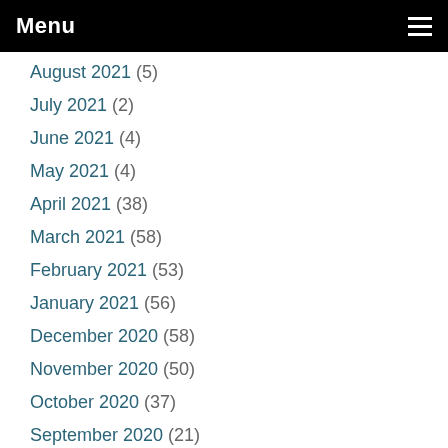Menu
August 2021 (5)
July 2021 (2)
June 2021 (4)
May 2021 (4)
April 2021 (38)
March 2021 (58)
February 2021 (53)
January 2021 (56)
December 2020 (58)
November 2020 (50)
October 2020 (37)
September 2020 (21)
August 2020 (24)
July 2020 (35)